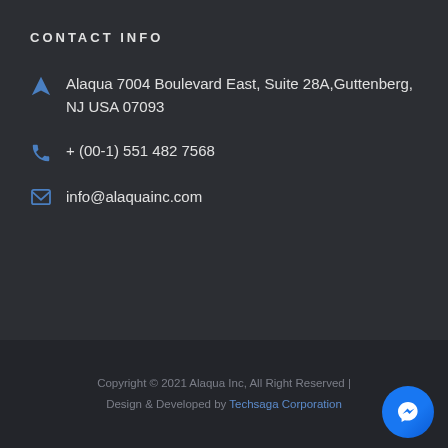CONTACT INFO
Alaqua 7004 Boulevard East, Suite 28A,Guttenberg, NJ USA 07093
+ (00-1) 551 482 7568
info@alaquainc.com
Copyright © 2021 Alaqua Inc, All Right Reserved | Design & Developed by Techsaga Corporation